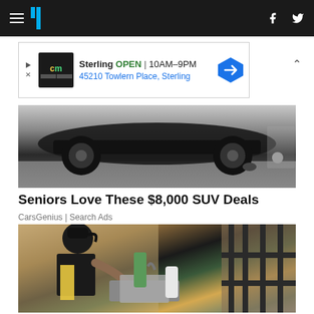HuffPost navigation bar with hamburger menu, logo, and social icons (Facebook, Twitter)
[Figure (screenshot): Advertisement banner: CM logo, Sterling OPEN 10AM-9PM, 45210 Towlern Place, Sterling, with navigation arrow icon]
[Figure (photo): Under-car shot of a vehicle on a showroom floor]
Seniors Love These $8,000 SUV Deals
CarsGenius | Search Ads
[Figure (photo): Woman in apron washing dishes at a kitchen sink]
Ashburn: Here's How Much Maids Charge to Clean a